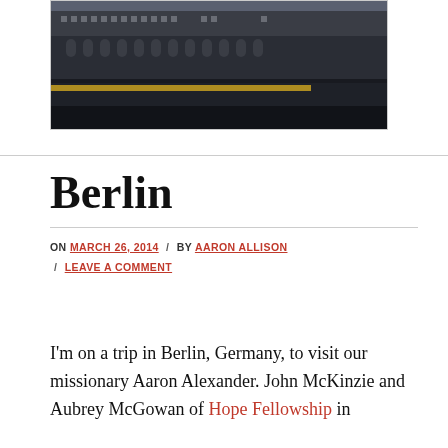[Figure (photo): Photograph of a historic building in Berlin, with a dark waterfront/bridge in the foreground, dark tones.]
Berlin
ON MARCH 26, 2014 / BY AARON ALLISON / LEAVE A COMMENT
I'm on a trip in Berlin, Germany, to visit our missionary Aaron Alexander. John McKinzie and Aubrey McGowan of Hope Fellowship in Ephesus, Tennessee and Mike…